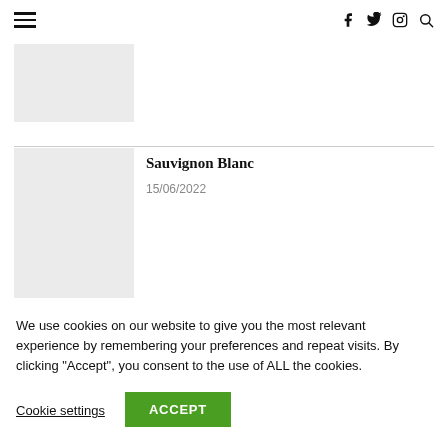Navigation bar with hamburger menu and social icons (Facebook, Twitter, Instagram, Search)
[Figure (photo): Partially visible article thumbnail image (light gray placeholder)]
Sauvignon Blanc
15/06/2022
We use cookies on our website to give you the most relevant experience by remembering your preferences and repeat visits. By clicking "Accept", you consent to the use of ALL the cookies.
Cookie settings  ACCEPT